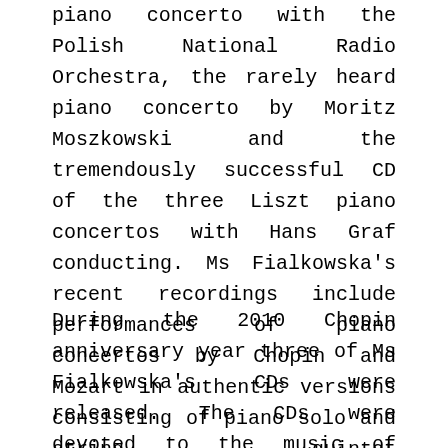piano concerto with the Polish National Radio Orchestra, the rarely heard piano concerto by Moritz Moszkowski and the tremendously successful CD of the three Liszt piano concertos with Hans Graf conducting. Ms Fialkowska's recent recordings include performances of piano concertos by Chopin and Mozart in authentic versions consisting of piano solo and string quintet accompaniment. Both of which were released to highest critical acclaim.
During the 2010 Chopin anniversary year three of Ms Fialkowska's CDs were released. The CDs were devoted to the music of Chopin and all three received stellar reviews from the most distinguished critics around the world. The “Chopin Recital” CD made it into the Gramophone